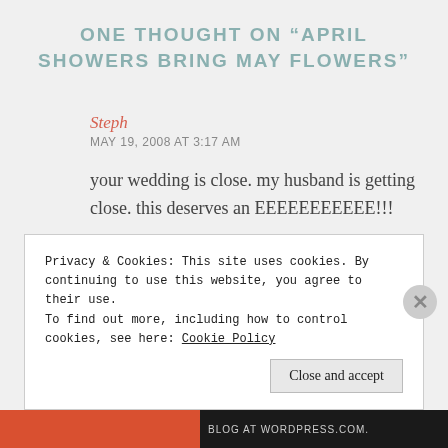ONE THOUGHT ON “APRIL SHOWERS BRING MAY FLOWERS”
Steph
MAY 19, 2008 AT 3:17 AM
your wedding is close. my husband is getting close. this deserves an EEEEEEEEEEE!!!
Privacy & Cookies: This site uses cookies. By continuing to use this website, you agree to their use.
To find out more, including how to control cookies, see here: Cookie Policy
Close and accept